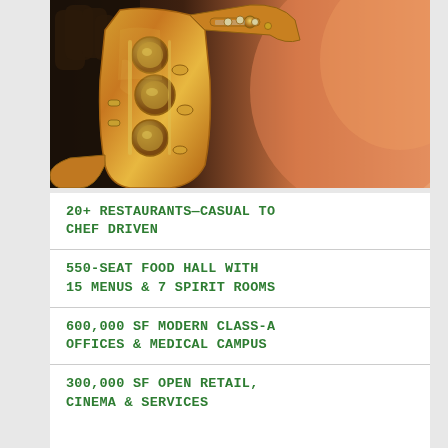[Figure (photo): Close-up photo of a person playing a saxophone, showing the golden brass instrument with keys and pads in detail, with a warm orange blurred background.]
20+ RESTAURANTS—CASUAL TO CHEF DRIVEN
550-SEAT FOOD HALL WITH 15 MENUS & 7 SPIRIT ROOMS
600,000 SF MODERN CLASS-A OFFICES & MEDICAL CAMPUS
300,000 SF OPEN RETAIL, CINEMA & SERVICES